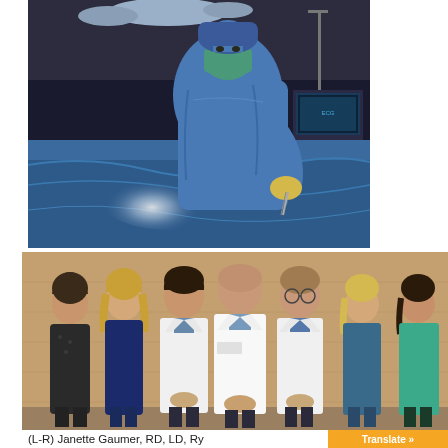[Figure (photo): A surgeon in blue surgical scrubs, mask, and cap performing a surgical procedure. The surgeon is leaning over the patient under bright operating room lights. Medical equipment is visible in the background.]
[Figure (photo): A group of seven medical professionals (doctors and staff) posing together in front of a wooden wall. Three people in the center and right wear white lab coats, while others are in casual or professional attire.]
(L-R) Janette Gaumer, RD, LD, Ry...